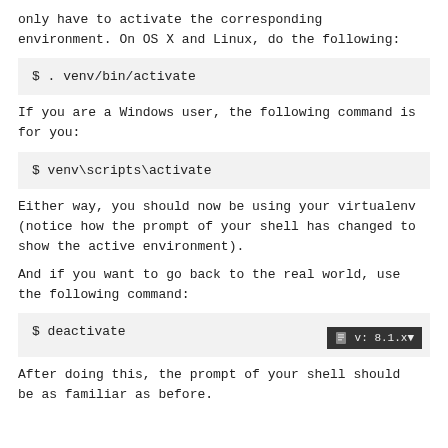only have to activate the corresponding environment. On OS X and Linux, do the following:
$ . venv/bin/activate
If you are a Windows user, the following command is for you:
$ venv\scripts\activate
Either way, you should now be using your virtualenv (notice how the prompt of your shell has changed to show the active environment).
And if you want to go back to the real world, use the following command:
$ deactivate
After doing this, the prompt of your shell should be as familiar as before.